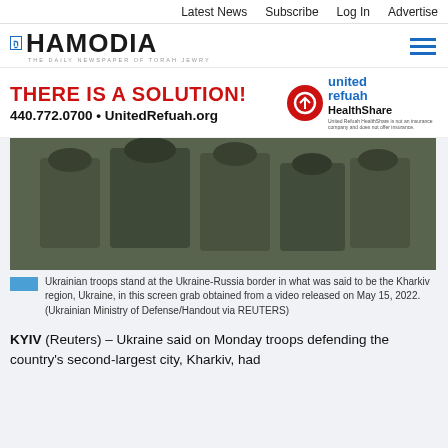Latest News  Subscribe  Log In  Advertise
[Figure (logo): Hamodia logo - The Daily Newspaper of Torah Jewry]
[Figure (infographic): United Refuah HealthShare advertisement: THERE IS A SOLUTION! 440.772.0700 • UnitedRefuah.org. United Refuah HealthShare is not an insurance company and does not offer insurance.]
[Figure (photo): Ukrainian troops stand at the Ukraine-Russia border in what was said to be the Kharkiv region, Ukraine, in this screen grab obtained from a video released on May 15, 2022. (Ukrainian Ministry of Defense/Handout via REUTERS)]
Ukrainian troops stand at the Ukraine-Russia border in what was said to be the Kharkiv region, Ukraine, in this screen grab obtained from a video released on May 15, 2022. (Ukrainian Ministry of Defense/Handout via REUTERS)
KYIV (Reuters) – Ukraine said on Monday troops defending the country's second-largest city, Kharkiv, had